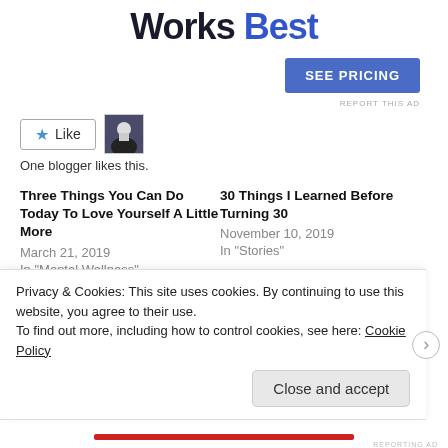Works Best
[Figure (other): SEE PRICING advertisement button]
[Figure (other): Like button with star icon and blogger avatar thumbnail]
One blogger likes this.
Three Things You Can Do Today To Love Yourself A Little More
March 21, 2019
In "Mental Wellness"
30 Things I Learned Before Turning 30
November 10, 2019
In "Stories"
3 Inspiring Mexican Women My Abuelita Taught Me About By Krishna de la Cruz
Privacy & Cookies: This site uses cookies. By continuing to use this website, you agree to their use.
To find out more, including how to control cookies, see here: Cookie Policy
Close and accept